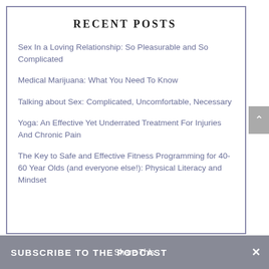RECENT POSTS
Sex In a Loving Relationship: So Pleasurable and So Complicated
Medical Marijuana: What You Need To Know
Talking about Sex: Complicated, Uncomfortable, Necessary
Yoga: An Effective Yet Underrated Treatment For Injuries And Chronic Pain
The Key to Safe and Effective Fitness Programming for 40-60 Year Olds (and everyone else!): Physical Literacy and Mindset
SUBSCRIBE TO THE PODCAST  Share This  ×